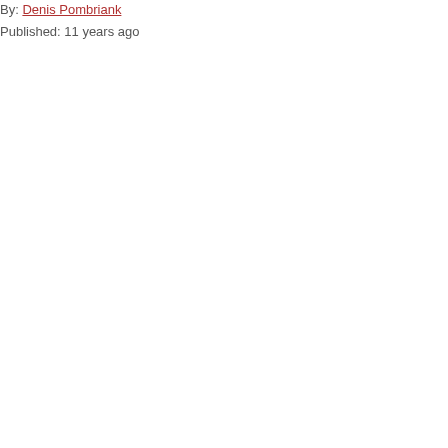By: Denis Pombriank
Published: 11 years ago